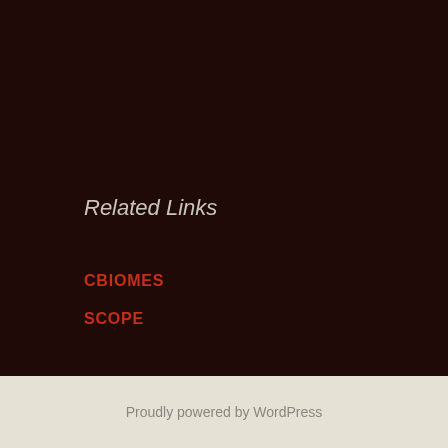Related Links
CBIOMES
SCOPE
Accessibility
ACCESSIBILITY
Proudly powered by WordPress